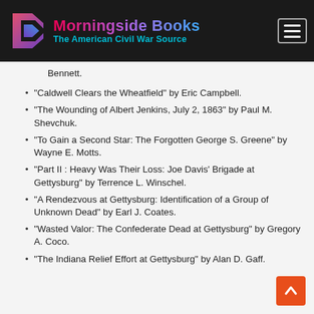[Figure (logo): Morningside Books logo with text 'Morningside Books' and tagline 'The American Civil War Source' on dark background with navigation hamburger menu]
Bennett.
“Caldwell Clears the Wheatfield” by Eric Campbell.
“The Wounding of Albert Jenkins, July 2, 1863” by Paul M. Shevchuk.
“To Gain a Second Star: The Forgotten George S. Greene” by Wayne E. Motts.
“Part II : Heavy Was Their Loss: Joe Davis’ Brigade at Gettysburg” by Terrence L. Winschel.
“A Rendezvous at Gettysburg: Identification of a Group of Unknown Dead” by Earl J. Coates.
“Wasted Valor: The Confederate Dead at Gettysburg” by Gregory A. Coco.
“The Indiana Relief Effort at Gettysburg” by Alan D. Gaff.